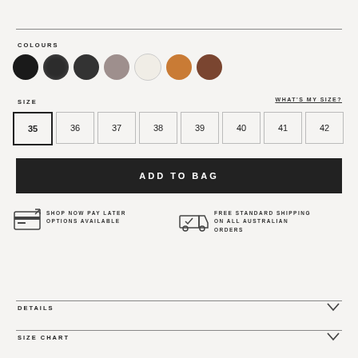COLOURS
[Figure (illustration): Seven circular colour swatches: matte black, glossy black, dark grey/black, mauve/grey, cream/off-white, orange/tan, brown]
SIZE
WHAT'S MY SIZE?
35  36  37  38  39  40  41  42
ADD TO BAG
SHOP NOW PAY LATER OPTIONS AVAILABLE
FREE STANDARD SHIPPING ON ALL AUSTRALIAN ORDERS
DETAILS
SIZE CHART